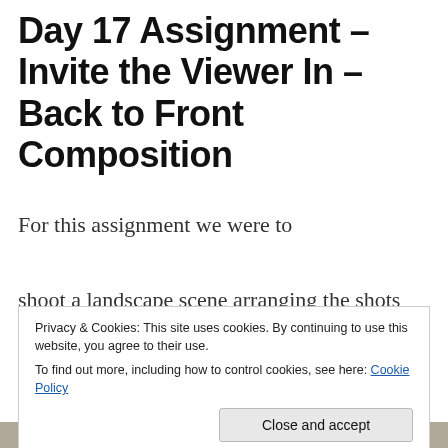Day 17 Assignment – Invite the Viewer In – Back to Front Composition
For this assignment we were to shoot a landscape scene arranging the shots using 'back to front' composition. Concentrate  on the foreground. Create a sense that the viewer can walk into
Privacy & Cookies: This site uses cookies. By continuing to use this website, you agree to their use.
To find out more, including how to control cookies, see here: Cookie Policy
[Figure (photo): Partial image strip visible at bottom of page]